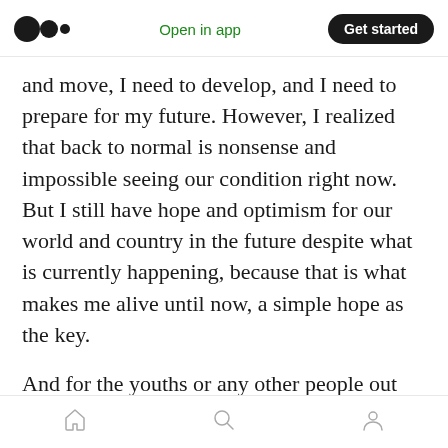Medium logo | Open in app | Get started
and move, I need to develop, and I need to prepare for my future. However, I realized that back to normal is nonsense and impossible seeing our condition right now. But I still have hope and optimism for our world and country in the future despite what is currently happening, because that is what makes me alive until now, a simple hope as the key.
And for the youths or any other people out there who are currently struggling with everything you are doing right now, just keep swimming and do not even try to look back in the mirror. If you
Home | Search | Profile